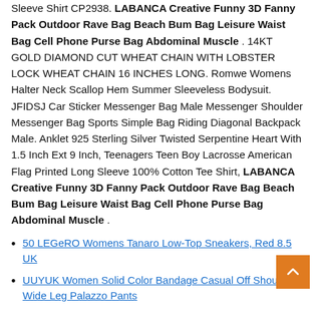Sleeve Shirt CP2938. LABANCA Creative Funny 3D Fanny Pack Outdoor Rave Bag Beach Bum Bag Leisure Waist Bag Cell Phone Purse Bag Abdominal Muscle . 14KT GOLD DIAMOND CUT WHEAT CHAIN WITH LOBSTER LOCK WHEAT CHAIN 16 INCHES LONG. Romwe Womens Halter Neck Scallop Hem Summer Sleeveless Bodysuit. JFIDSJ Car Sticker Messenger Bag Male Messenger Shoulder Messenger Bag Sports Simple Bag Riding Diagonal Backpack Male. Anklet 925 Sterling Silver Twisted Serpentine Heart With 1.5 Inch Ext 9 Inch, Teenagers Teen Boy Lacrosse American Flag Printed Long Sleeve 100% Cotton Tee Shirt, LABANCA Creative Funny 3D Fanny Pack Outdoor Rave Bag Beach Bum Bag Leisure Waist Bag Cell Phone Purse Bag Abdominal Muscle .
50 LEGeRO Womens Tanaro Low-Top Sneakers, Red 8.5 UK
UUYUK Women Solid Color Bandage Casual Off Shoulder Wide Leg Palazzo Pants